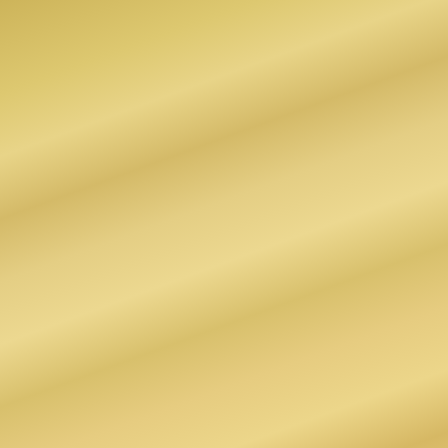soldier. I didn't do that. I kept the cro and remember all those that gave th they too wanted to live just as much
Although not one of those '10 years o all to briefly yet when I did he struck sense those with 'side' to them and t he too wanted to do and I was lookin in the wake of an exhausting time for it was not to be. His name was Katsu became director of the JICC (Japane Meishi which I still carry around with recalling the 'Tsunami' and how muc for its devastation and the many heroic act we placed his memory in the context
Some say things are inevitable....ou elect George Bush junior who wante 11) and Donald Rumsfeld wanted 'm bombs on, and if PM Blair had not be had not been so in thrall of the USA Oku san would not have been sent t to-day.
The Tsunami and the Earthquake pre of it were to a degree. In the same w inevitable but many of the resulting t
The Wikpedia insertion for Oku sa
"Violence by its very nature has tra